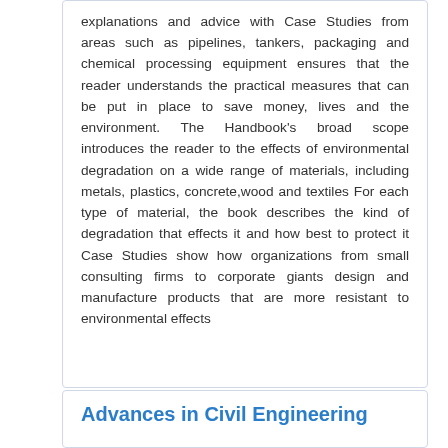explanations and advice with Case Studies from areas such as pipelines, tankers, packaging and chemical processing equipment ensures that the reader understands the practical measures that can be put in place to save money, lives and the environment. The Handbook's broad scope introduces the reader to the effects of environmental degradation on a wide range of materials, including metals, plastics, concrete,wood and textiles For each type of material, the book describes the kind of degradation that effects it and how best to protect it Case Studies show how organizations from small consulting firms to corporate giants design and manufacture products that are more resistant to environmental effects
Advances in Civil Engineering